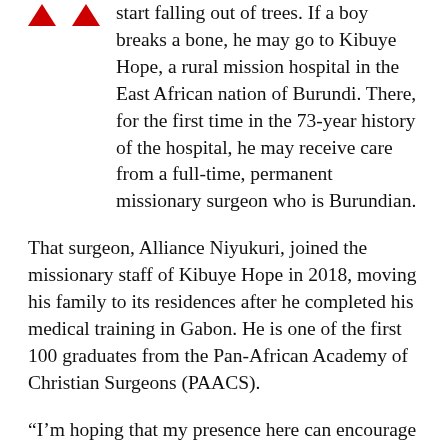start falling out of trees. If a boy breaks a bone, he may go to Kibuye Hope, a rural mission hospital in the East African nation of Burundi. There, for the first time in the 73-year history of the hospital, he may receive care from a full-time, permanent missionary surgeon who is Burundian.
That surgeon, Alliance Niyukuri, joined the missionary staff of Kibuye Hope in 2018, moving his family to its residences after he completed his medical training in Gabon. He is one of the first 100 graduates from the Pan-African Academy of Christian Surgeons (PAACS).
“I’m hoping that my presence here can encourage other Burundians and allow me to be a role model to students coming to the mission hospital,” Niyukuri